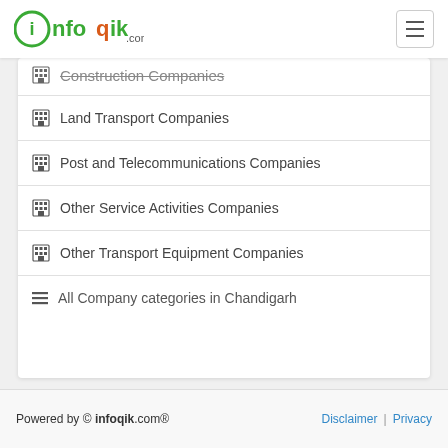infoqik.com
Construction Companies
Land Transport Companies
Post and Telecommunications Companies
Other Service Activities Companies
Other Transport Equipment Companies
All Company categories in Chandigarh
Powered by © infoqik.com®    Disclaimer | Privacy